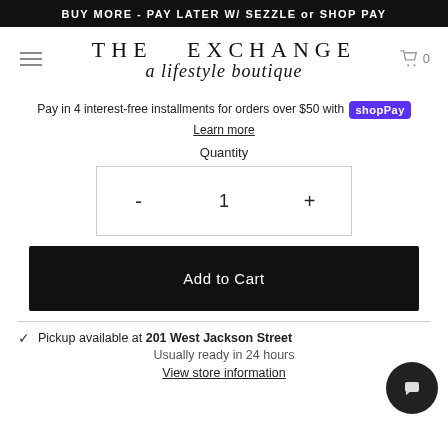BUY MORE - PAY LATER W/ SEZZLE or SHOP PAY
[Figure (logo): The Exchange a lifestyle boutique logo with hamburger menu and cart icon]
Pay in 4 interest-free installments for orders over $50 with Shop Pay
Learn more
Quantity
- 1 +
Add to Cart
Pickup available at 201 West Jackson Street
Usually ready in 24 hours
View store information